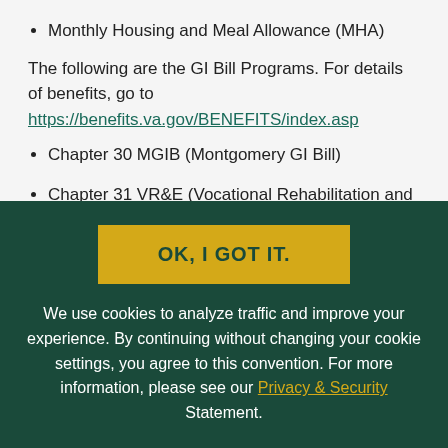Monthly Housing and Meal Allowance (MHA)
The following are the GI Bill Programs. For details of benefits, go to https://benefits.va.gov/BENEFITS/index.asp
Chapter 30 MGIB (Montgomery GI Bill)
Chapter 31 VR&E (Vocational Rehabilitation and Employment Program)
Chapter 32 VEAP (Veterans Educational Assistance
OK, I GOT IT.
We use cookies to analyze traffic and improve your experience. By continuing without changing your cookie settings, you agree to this convention. For more information, please see our Privacy & Security Statement.